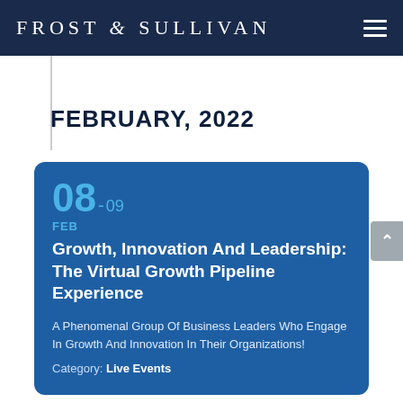FROST & SULLIVAN
FEBRUARY, 2022
08-09
FEB
Growth, Innovation And Leadership: The Virtual Growth Pipeline Experience
A Phenomenal Group Of Business Leaders Who Engage In Growth And Innovation In Their Organizations!
Category: Live Events